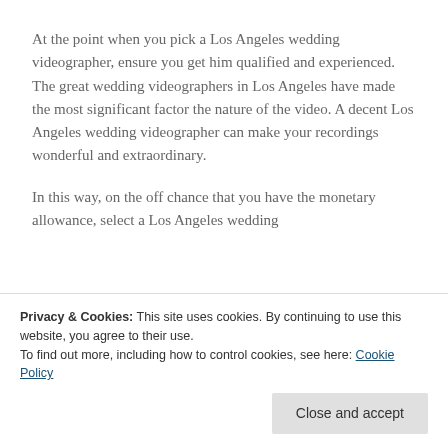At the point when you pick a Los Angeles wedding videographer, ensure you get him qualified and experienced. The great wedding videographers in Los Angeles have made the most significant factor the nature of the video. A decent Los Angeles wedding videographer can make your recordings wonderful and extraordinary.

In this way, on the off chance that you have the monetary allowance, select a Los Angeles wedding
Privacy & Cookies: This site uses cookies. By continuing to use this website, you agree to their use.
To find out more, including how to control cookies, see here: Cookie Policy
Close and accept